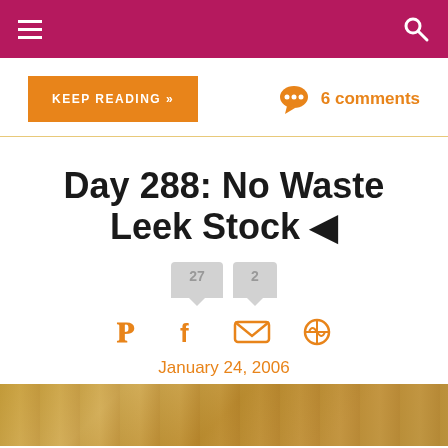≡  🔍
KEEP READING »
6 comments
Day 288: No Waste Leek Stock ◀
27  2
[Figure (infographic): Social share icons: Pinterest, Facebook, Email, More]
January 24, 2006
[Figure (photo): Close-up photo of leeks, golden/yellowish tones]